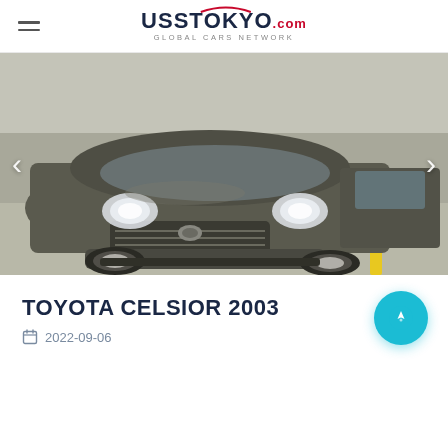UssTokyo.com — GLOBAL CARS NETWORK
[Figure (photo): Front three-quarter view of a dark olive/grey Toyota Celsior (2003) parked in a covered parking garage with yellow line markings visible on the right side.]
TOYOTA CELSIOR 2003
2022-09-06